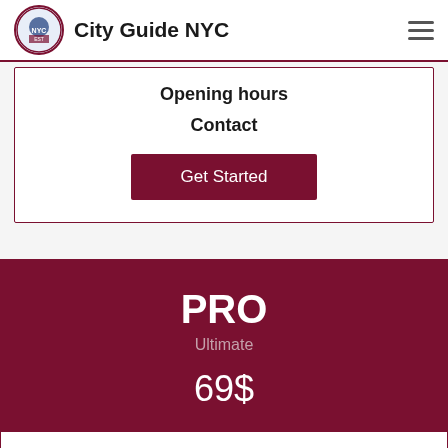City Guide NYC
Opening hours
Contact
Get Started
PRO
Ultimate
69$